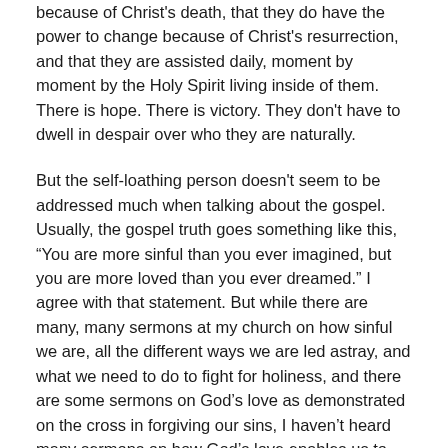because of Christ's death, that they do have the power to change because of Christ's resurrection, and that they are assisted daily, moment by moment by the Holy Spirit living inside of them. There is hope. There is victory. They don't have to dwell in despair over who they are naturally.
But the self-loathing person doesn't seem to be addressed much when talking about the gospel. Usually, the gospel truth goes something like this, “You are more sinful than you ever imagined, but you are more loved than you ever dreamed.” I agree with that statement. But while there are many, many sermons at my church on how sinful we are, all the different ways we are led astray, and what we need to do to fight for holiness, and there are some sermons on God’s love as demonstrated on the cross in forgiving our sins, I haven’t heard many sermons on how God’s love enables us to live differently. And not just the idea of God’s